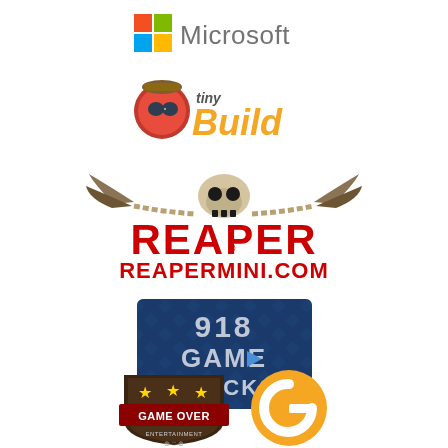[Figure (logo): Microsoft logo with colorful Windows 4-square icon and text 'Microsoft' in gray]
[Figure (logo): tinyBuild logo with cartoon character mascot and orange/yellow text 'tinyBuild']
[Figure (logo): Reaper Miniatures logo with skull and wings graphic, red block text 'REAPER' and 'REAPERMINI.COM']
[Figure (logo): 918 Game Trucks logo on dark blue diamond-plate background with metallic text]
[Figure (logo): Game Over Entertainment shield badge logo with stars]
[Figure (logo): Orange circular G logo]